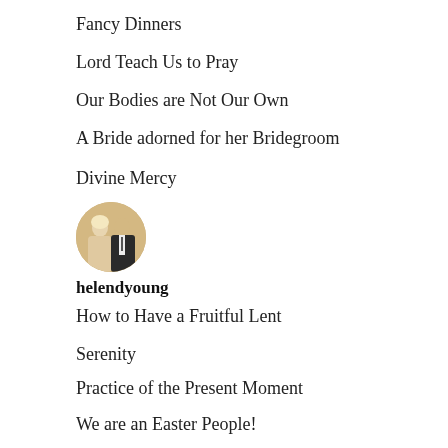Fancy Dinners
Lord Teach Us to Pray
Our Bodies are Not Our Own
A Bride adorned for her Bridegroom
Divine Mercy
[Figure (photo): Circular profile photo of two people (a woman and a man) at what appears to be a formal event]
helendyoung
How to Have a Fruitful Lent
Serenity
Practice of the Present Moment
We are an Easter People!
Watch, Wait and Pray